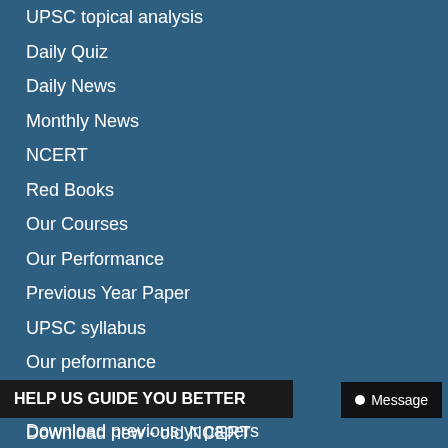UPSC topical analysis
Daily Quiz
Daily News
Monthly News
NCERT
Red Books
Our Courses
Our Performance
Previous Year Paper
UPSC syllabus
Our peformance
Practise past 40 years Qs
Download previous yr papers
Preparation strategy videos
Prelims test schedule
HELP US GUIDE YOU BETTER
Message
Download new - old NCERT